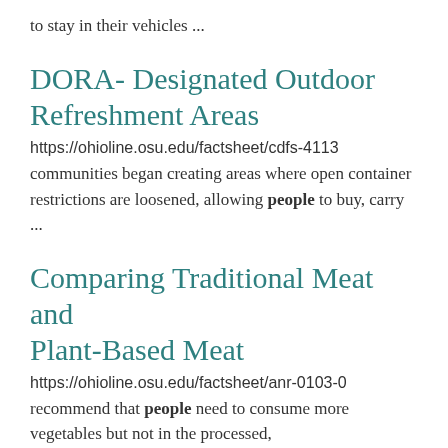to stay in their vehicles ...
DORA- Designated Outdoor Refreshment Areas
https://ohioline.osu.edu/factsheet/cdfs-4113
communities began creating areas where open container restrictions are loosened, allowing people to buy, carry ...
Comparing Traditional Meat and Plant-Based Meat
https://ohioline.osu.edu/factsheet/anr-0103-0
recommend that people need to consume more vegetables but not in the processed,